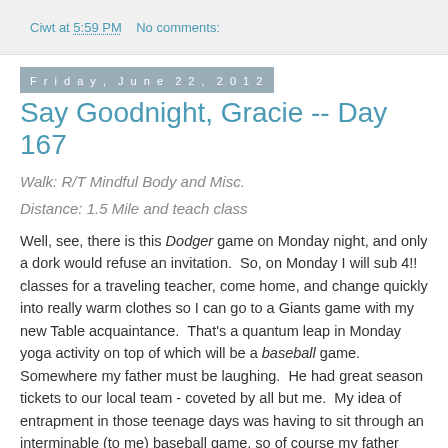Ciwt at 5:59 PM    No comments:
Friday, June 22, 2012
Say Goodnight, Gracie -- Day 167
Walk: R/T Mindful Body and Misc.
Distance: 1.5 Mile and teach class
Well, see, there is this Dodger game on Monday night, and only a dork would refuse an invitation.  So, on Monday I will sub 4!! classes for a traveling teacher, come home, and change quickly into really warm clothes so I can go to a Giants game with my new Table acquaintance.  That's a quantum leap in Monday yoga activity on top of which will be a baseball game.  Somewhere my father must be laughing.  He had great season tickets to our local team - coveted by all but me.  My idea of entrapment in those teenage days was having to sit through an interminable (to me) baseball game, so of course my father would go out of his way to set up situations where he could let me go while...